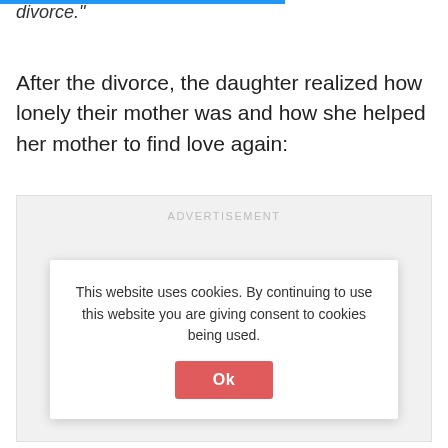divorce."
After the divorce, the daughter realized how lonely their mother was and how she helped her mother to find love again:
ADVERTISEMENT
This website uses cookies. By continuing to use this website you are giving consent to cookies being used.
Ok